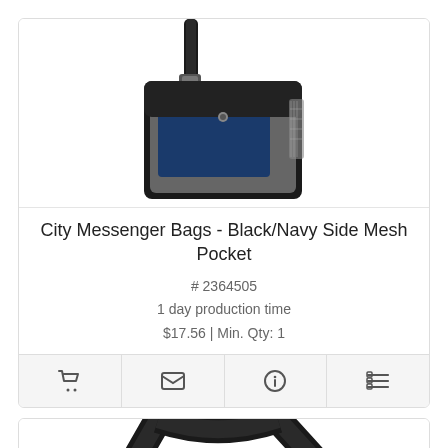[Figure (photo): City Messenger Bag in black and navy with side mesh pocket and shoulder strap, shown from front]
City Messenger Bags - Black/Navy Side Mesh Pocket
# 2364505
1 day production time
$17.56 | Min. Qty: 1
[Figure (photo): Second messenger bag product image showing shoulder strap, partially cropped, with a purple chat/email button overlay in bottom right]